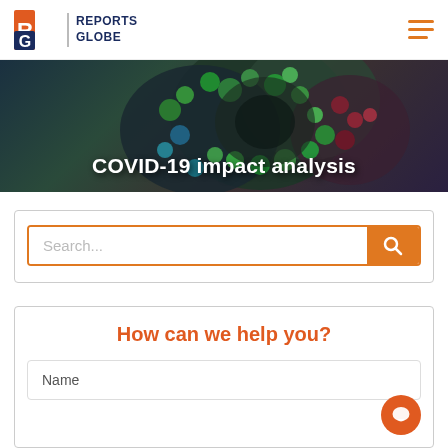Reports Globe
[Figure (photo): COVID-19 virus microscopic image used as hero banner background]
COVID-19 impact analysis
Search...
How can we help you?
Name